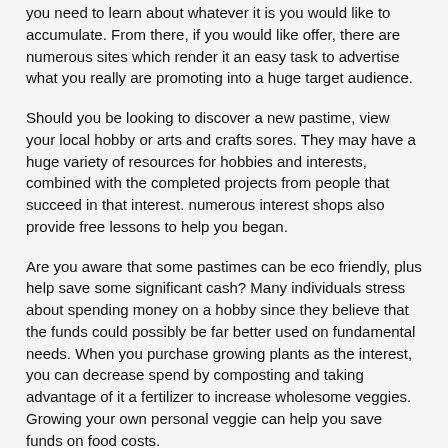you need to learn about whatever it is you would like to accumulate. From there, if you would like offer, there are numerous sites which render it an easy task to advertise what you really are promoting into a huge target audience.
Should you be looking to discover a new pastime, view your local hobby or arts and crafts sores. They may have a huge variety of resources for hobbies and interests, combined with the completed projects from people that succeed in that interest. numerous interest shops also provide free lessons to help you began.
Are you aware that some pastimes can be eco friendly, plus help save some significant cash? Many individuals stress about spending money on a hobby since they believe that the funds could possibly be far better used on fundamental needs. When you purchase growing plants as the interest, you can decrease spend by composting and taking advantage of it a fertilizer to increase wholesome veggies. Growing your own personal veggie can help you save funds on food costs.
One thing that lots of men and women usually do not consider when considering pastimes is exercise. Weight training exercise, bicycling and walking are common wonderful pastimes which allow you to take pleasure in the in the open air while getting in shape. Yet another workout option that may be considered a hobby is going swimming. Swimming lets you keep amazing while experiencing and enjoying the outdoors.
Try sculpting being a pastime. The great thing about sculpting is you can pick from a